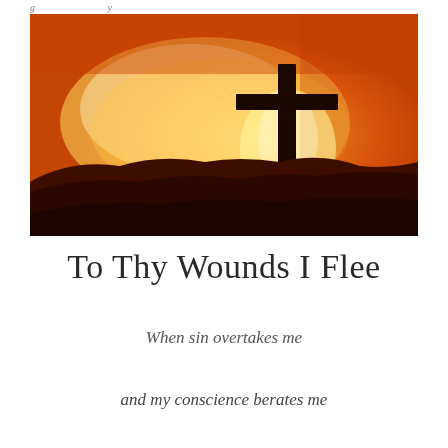[Figure (photo): A silhouette of a Christian cross on a hilltop against a dramatic orange and amber sunset sky with glowing clouds]
To Thy Wounds I Flee
When sin overtakes me
and my conscience berates me